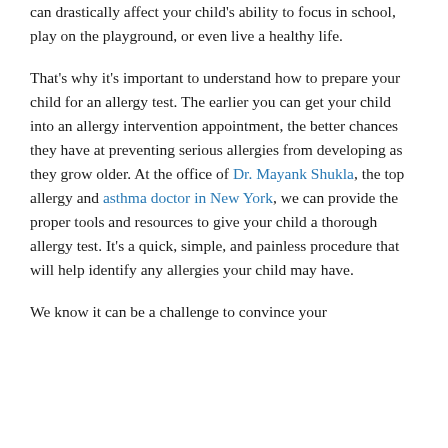can drastically affect your child's ability to focus in school, play on the playground, or even live a healthy life.
That's why it's important to understand how to prepare your child for an allergy test. The earlier you can get your child into an allergy intervention appointment, the better chances they have at preventing serious allergies from developing as they grow older. At the office of Dr. Mayank Shukla, the top allergy and asthma doctor in New York, we can provide the proper tools and resources to give your child a thorough allergy test. It's a quick, simple, and painless procedure that will help identify any allergies your child may have.
We know it can be a challenge to convince your